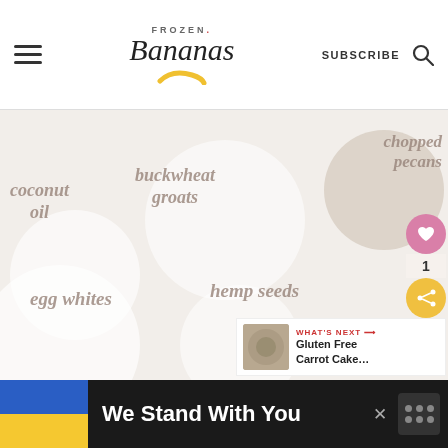FROZEN Bananas | SUBSCRIBE
[Figure (photo): Overhead flat-lay of various bowls containing ingredients: coconut oil, buckwheat groats, chopped pecans, hemp seeds, egg whites, and other items on a light background with ingredient labels overlaid in italic text.]
We Stand With You
We Stand With You